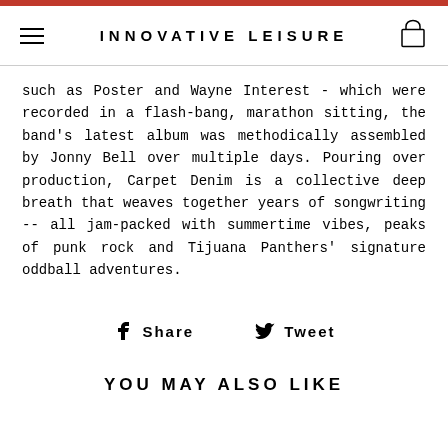INNOVATIVE LEISURE
such as Poster and Wayne Interest - which were recorded in a flash-bang, marathon sitting, the band's latest album was methodically assembled by Jonny Bell over multiple days. Pouring over production, Carpet Denim is a collective deep breath that weaves together years of songwriting -- all jam-packed with summertime vibes, peaks of punk rock and Tijuana Panthers' signature oddball adventures.
Share  Tweet
YOU MAY ALSO LIKE